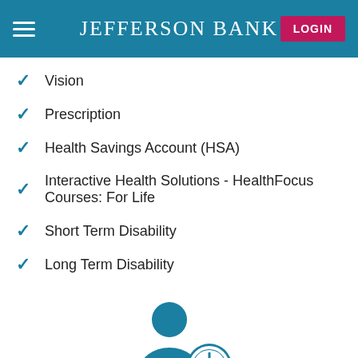JEFFERSON BANK
Vision
Prescription
Health Savings Account (HSA)
Interactive Health Solutions - HealthFocus Courses: For Life
Short Term Disability
Long Term Disability
[Figure (illustration): Person with clock icon representing employee time/rewards]
Employees Deserve to be Rewarded